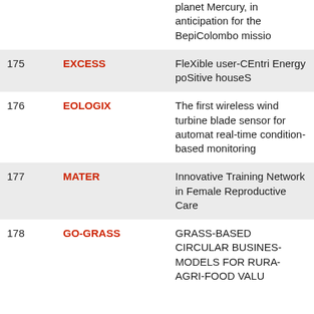| # | Acronym | Description |
| --- | --- | --- |
|  |  | planet Mercury, in anticipation for the BepiColombo mission |
| 175 | EXCESS | FleXible user-CEntric Energy poSitive houseS |
| 176 | EOLOGIX | The first wireless wind turbine blade sensor for automatic real-time condition-based monitoring |
| 177 | MATER | Innovative Training Network in Female Reproductive Care |
| 178 | GO-GRASS | GRASS-BASED CIRCULAR BUSINESS MODELS FOR RURAL AGRI-FOOD VALUE |